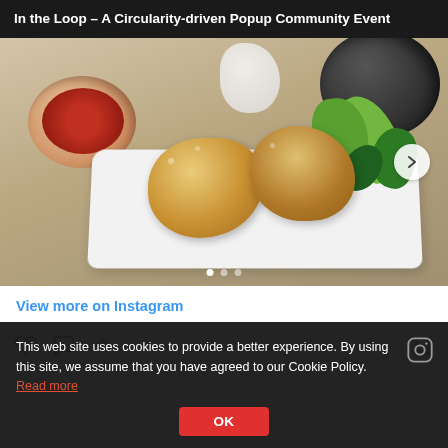In the Loop – A Circularity-driven Popup Community Event
[Figure (photo): Food photo showing fried chicken nuggets on a white plate with green vegetables (bok choy, broccoli), a red bowl with sauce on the left, and a dark bowl in the upper right. Instagram slideshow with navigation arrow and dot indicators.]
View more on Instagram
This web site uses cookies to provide a better experience. By using this site, we assume that you have agreed to our Cookie Policy. Read more
OK